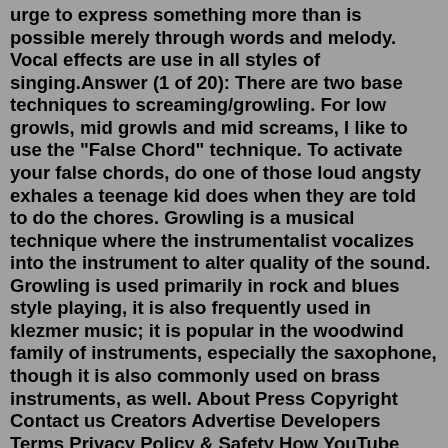urge to express something more than is possible merely through words and melody. Vocal effects are use in all styles of singing.Answer (1 of 20): There are two base techniques to screaming/growling. For low growls, mid growls and mid screams, I like to use the "False Chord" technique. To activate your false chords, do one of those loud angsty exhales a teenage kid does when they are told to do the chores. Growling is a musical technique where the instrumentalist vocalizes into the instrument to alter quality of the sound. Growling is used primarily in rock and blues style playing, it is also frequently used in klezmer music; it is popular in the woodwind family of instruments, especially the saxophone, though it is also commonly used on brass instruments, as well. About Press Copyright Contact us Creators Advertise Developers Terms Privacy Policy & Safety How YouTube works Test new features Press Copyright Contact us Creators ... I'm going to explain the different types of metal vocal styles and how to do